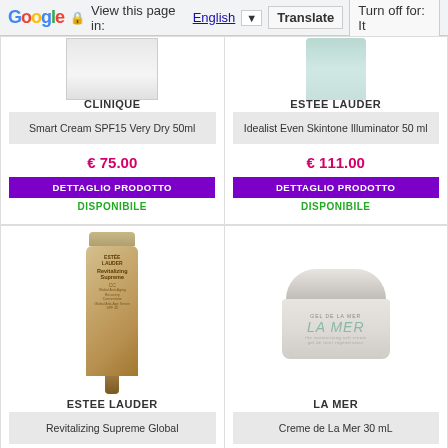Google  View this page in: English  Translate  Turn off for: It
CLINIQUE
Smart Cream SPF15 Very Dry 50ml
€ 75.00
DETTAGLIO PRODOTTO
DISPONIBILE
ESTEE LAUDER
Idealist Even Skintone Illuminator 50 ml
€ 111.00
DETTAGLIO PRODOTTO
DISPONIBILE
ESTEE LAUDER
Revitalizing Supreme Global
LA MER
Creme de La Mer 30 mL